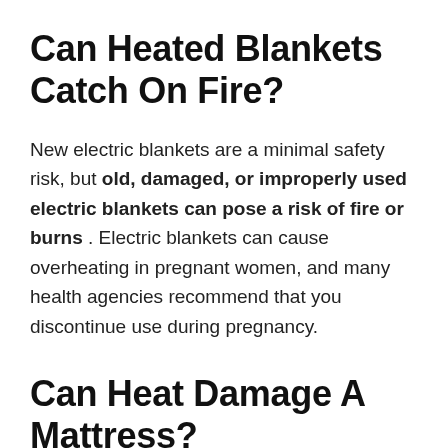Can Heated Blankets Catch On Fire?
New electric blankets are a minimal safety risk, but old, damaged, or improperly used electric blankets can pose a risk of fire or burns . Electric blankets can cause overheating in pregnant women, and many health agencies recommend that you discontinue use during pregnancy.
Can Heat Damage A Mattress?